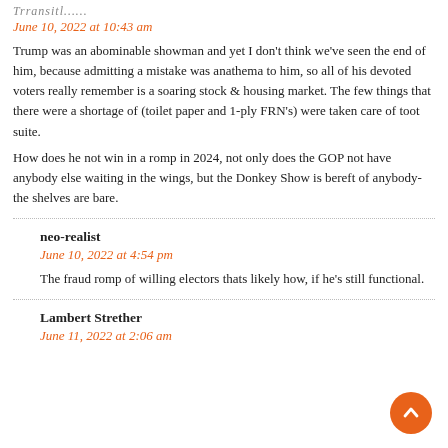June 10, 2022 at 10:43 am
Trump was an abominable showman and yet I don't think we've seen the end of him, because admitting a mistake was anathema to him, so all of his devoted voters really remember is a soaring stock & housing market. The few things that there were a shortage of (toilet paper and 1-ply FRN's) were taken care of toot suite.
How does he not win in a romp in 2024, not only does the GOP not have anybody else waiting in the wings, but the Donkey Show is bereft of anybody-the shelves are bare.
neo-realist
June 10, 2022 at 4:54 pm
The fraud romp of willing electors thats likely how, if he's still functional.
Lambert Strether
June 11, 2022 at 2:06 am